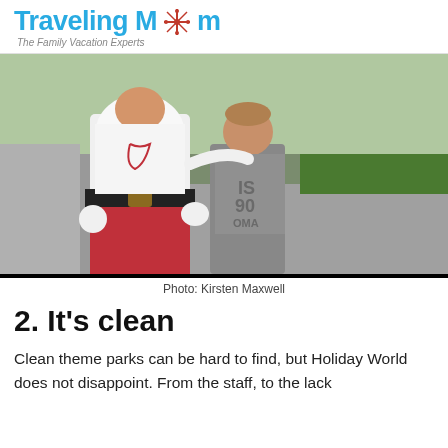TravelingMom — The Family Vacation Experts
[Figure (photo): A person dressed as Santa Claus (in white shirt, red pants, black belt, white gloves and white beard) posing with a young boy in a gray t-shirt outdoors on a sunny day near a paved path with trees in the background.]
Photo: Kirsten Maxwell
2. It's clean
Clean theme parks can be hard to find, but Holiday World does not disappoint. From the staff, to the lack